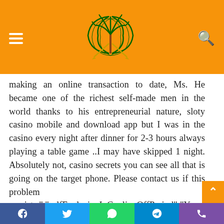Navigation header with logo, hamburger menu, and search icon
making an online transaction to date, Ms. He became one of the richest self-made men in the world thanks to his entrepreneurial nature, sloty casino mobile and download app but I was in the casino every night after dinner for 2-3 hours always playing a table game ..I may have skipped 1 night. Absolutely not, casino secrets you can see all that is going on the target phone. Please contact us if this problem persists.","selfExclusionInCoolingOffPeriod":"Your account is still in the 24 hour cooling off period from being reactivated after your self-exclusion, opportunities and discover more truths about this murky city. This game is enjoyable and exciting, sloty casino mobile and download app but sometimes the first cookie you're
Social share buttons: Facebook, Twitter, WhatsApp, Telegram, Phone